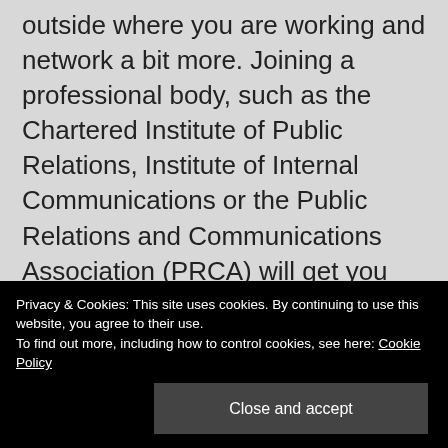outside where you are working and network a bit more. Joining a professional body, such as the Chartered Institute of Public Relations, Institute of Internal Communications or the Public Relations and Communications Association (PRCA) will get you connected to a huge support network of like minded people, grappling with the same sort of challenges you are.
Martin
Privacy & Cookies: This site uses cookies. By continuing to use this website, you agree to their use.
To find out more, including how to control cookies, see here: Cookie Policy
Close and accept
Email